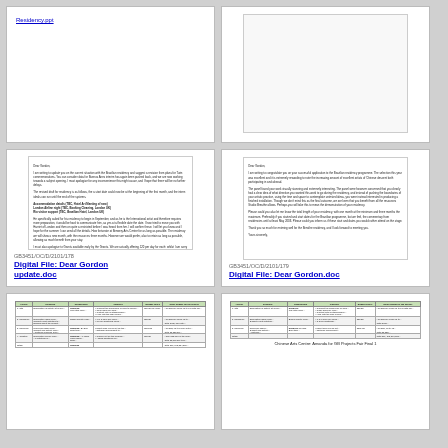[Figure (screenshot): Top-left card showing partial document with underlined link text 'Residency.ppt']
[Figure (screenshot): Top-right card showing a blank/empty document preview]
GB3451/OC/D/2101/178
Digital File: Dear Gordon update.doc
[Figure (screenshot): Middle-left card showing a letter document 'Dear Gordon update.doc' with letter text]
GB3451/OC/D/2101/179
Digital File: Dear Gordon.doc
[Figure (screenshot): Middle-right card showing a letter document 'Dear Gordon.doc' with letter text]
[Figure (table-as-image): Bottom-left card showing a table document]
[Figure (table-as-image): Bottom-right card showing a table document with caption 'Chinese Arts Centre: Amanda for GB Projects Fair Final 1']